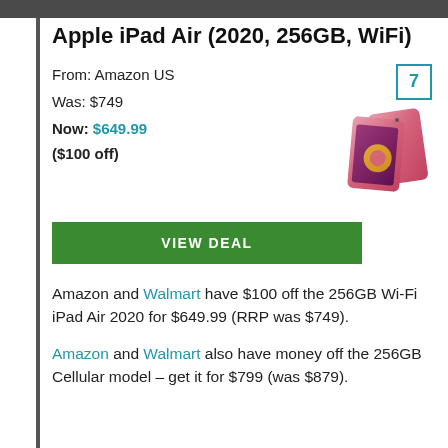Apple iPad Air (2020, 256GB, WiFi)
From: Amazon US
Was: $749
Now: $649.99
($100 off)
[Figure (photo): Apple iPad Air 2020 in pink/rose gold color, shown at an angle with a number badge '7' in blue border at top right]
VIEW DEAL
Amazon and Walmart have $100 off the 256GB Wi-Fi iPad Air 2020 for $649.99 (RRP was $749).
Amazon and Walmart also have money off the 256GB Cellular model – get it for $799 (was $879).